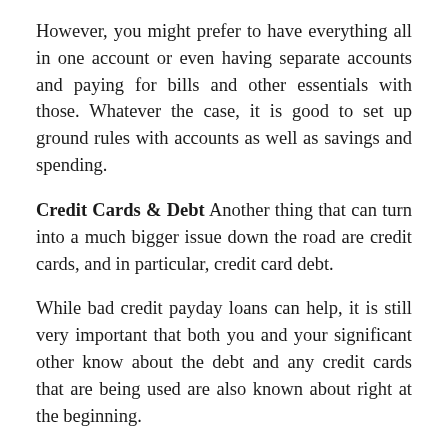However, you might prefer to have everything all in one account or even having separate accounts and paying for bills and other essentials with those. Whatever the case, it is good to set up ground rules with accounts as well as savings and spending.
Credit Cards & Debt Another thing that can turn into a much bigger issue down the road are credit cards, and in particular, credit card debt.
While bad credit payday loans can help, it is still very important that both you and your significant other know about the debt and any credit cards that are being used are also known about right at the beginning.
Loans And finally, the topic of loans should be discussed before getting married. For example, applying for loans in order to get your dream house in the future can turn into a nightmare if you or your spouse is not upfront about any bad credit or debts prior to after getting hitched.